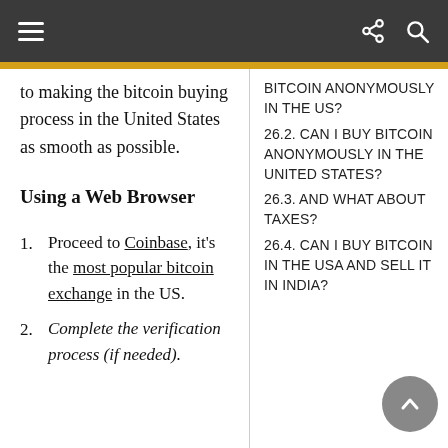Navigation bar with hamburger menu, share icon, and search icon
to making the bitcoin buying process in the United States as smooth as possible.
Using a Web Browser
Proceed to Coinbase, it's the most popular bitcoin exchange in the US.
Complete the verification process (if needed).
BITCOIN ANONYMOUSLY IN THE US?
26.2. CAN I BUY BITCOIN ANONYMOUSLY IN THE UNITED STATES?
26.3. AND WHAT ABOUT TAXES?
26.4. CAN I BUY BITCOIN IN THE USA AND SELL IT IN INDIA?